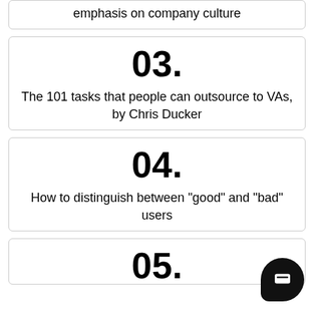emphasis on company culture
03.
The 101 tasks that people can outsource to VAs, by Chris Ducker
04.
How to distinguish between "good" and "bad" users
05.